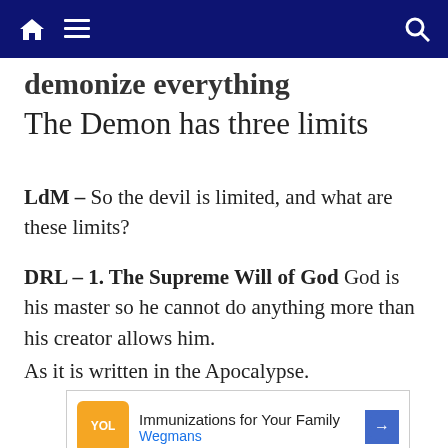demonize everything
The Demon has three limits
LdM – So the devil is limited, and what are these limits?
DRL – 1. The Supreme Will of God God is his master so he cannot do anything more than his creator allows him.
As it is written in the Apocalypse.
[Figure (other): Advertisement banner for Immunizations for Your Family by Wegmans, featuring an orange logo, text, and a blue diamond arrow icon.]